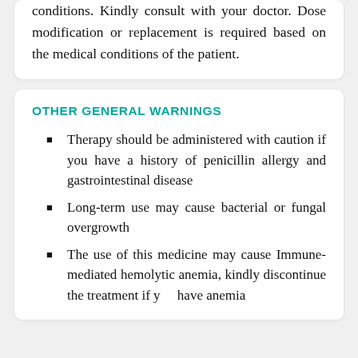conditions. Kindly consult with your doctor. Dose modification or replacement is required based on the medical conditions of the patient.
OTHER GENERAL WARNINGS
Therapy should be administered with caution if you have a history of penicillin allergy and gastrointestinal disease
Long-term use may cause bacterial or fungal overgrowth
The use of this medicine may cause Immune-mediated hemolytic anemia, kindly discontinue the treatment if you have anemia